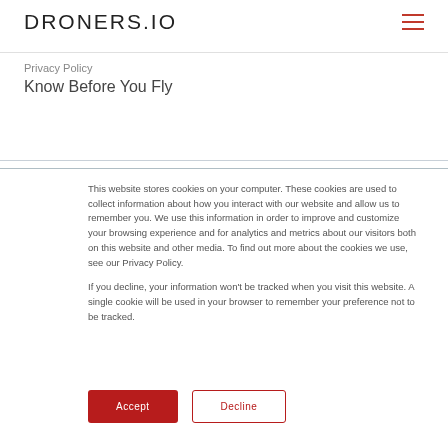DRONERS.IO
Privacy Policy
Know Before You Fly
This website stores cookies on your computer. These cookies are used to collect information about how you interact with our website and allow us to remember you. We use this information in order to improve and customize your browsing experience and for analytics and metrics about our visitors both on this website and other media. To find out more about the cookies we use, see our Privacy Policy.

If you decline, your information won't be tracked when you visit this website. A single cookie will be used in your browser to remember your preference not to be tracked.
Accept
Decline